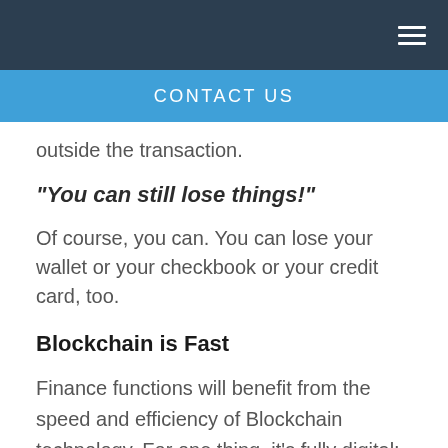CONTACT US
outside the transaction.
“You can still lose things!”
Of course, you can. You can lose your wallet or your checkbook or your credit card, too.
Blockchain is Fast
Finance functions will benefit from the speed and efficiency of Blockchain technology. For one thing, it’s fully digital: by taking the more time-consuming elements of a conventional